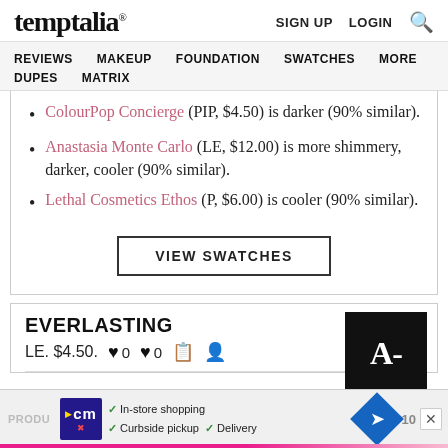temptalia® | SIGN UP  LOGIN  🔍
REVIEWS  MAKEUP  FOUNDATION  SWATCHES  MORE  DUPES  MATRIX
ColourPop Concierge (PIP, $4.50) is darker (90% similar).
Anastasia Monte Carlo (LE, $12.00) is more shimmery, darker, cooler (90% similar).
Lethal Cosmetics Ethos (P, $6.00) is cooler (90% similar).
VIEW SWATCHES
EVERLASTING
LE. $4.50.   ♥ 0   ♥ 0   [icons]   A-